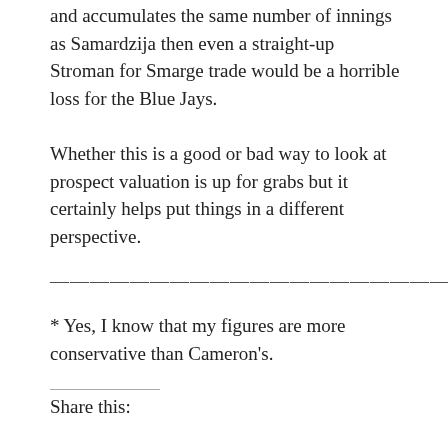and accumulates the same number of innings as Samardzija then even a straight-up Stroman for Smarge trade would be a horrible loss for the Blue Jays.
Whether this is a good or bad way to look at prospect valuation is up for grabs but it certainly helps put things in a different perspective.
————————————————————
* Yes, I know that my figures are more conservative than Cameron's.
Share this: